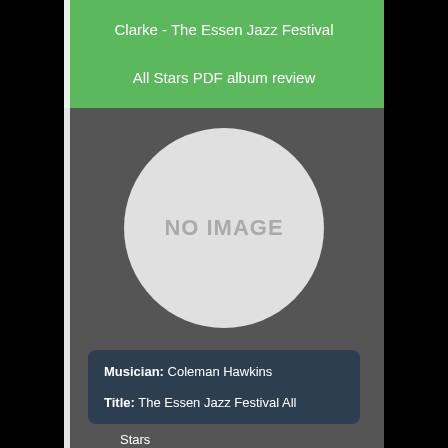Clarke - The Essen Jazz Festival

All Stars PDF album review
[Figure (illustration): Circular placeholder with text 'NO IMAGE' on dark gray background]
Musician: Coleman Hawkins
Title: The Essen Jazz Festival All Stars